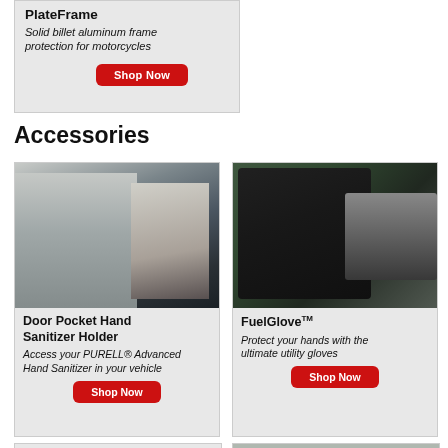PlateFrame
Solid billet aluminum frame protection for motorcycles
Shop Now
Accessories
[Figure (photo): Person reaching into car door with hand sanitizer bottle]
Door Pocket Hand Sanitizer Holder
Access your PURELL® Advanced Hand Sanitizer in your vehicle
Shop Now
[Figure (photo): Gloved hand holding fuel pump nozzle at a car gas tank]
FuelGlove™
Protect your hands with the ultimate utility gloves
Shop Now